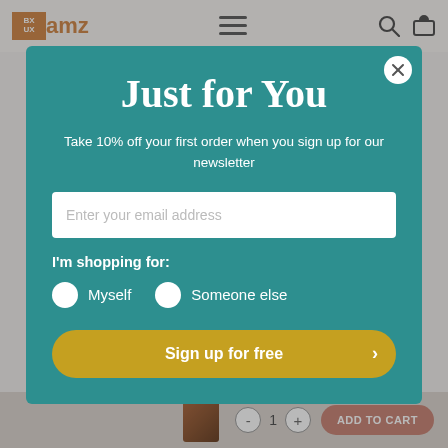[Figure (screenshot): Website header/navigation bar with AMZ logo in orange, hamburger menu icon, search icon, and cart icon on a light background]
Just for You
Take 10% off your first order when you sign up for our newsletter
Enter your email address
I'm shopping for:
Myself
Someone else
Sign up for free
[Figure (screenshot): Bottom of page showing product thumbnail, quantity controls (-, 1, +), and ADD TO CART button in terracotta color]